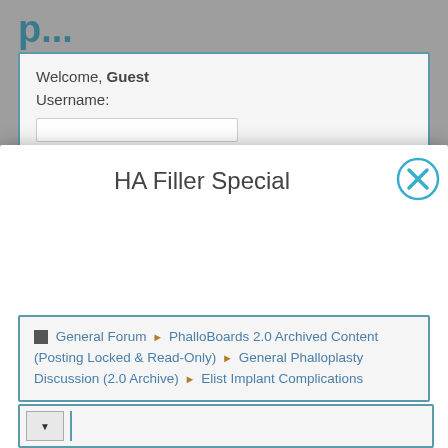Welcome, Guest
Username:
HA Filler Special
General Forum ▶ PhalloBoards 2.0 Archived Content (Posting Locked & Read-Only) ▶ General Phalloplasty Discussion (2.0 Archive) ▶ Elist Implant Complications